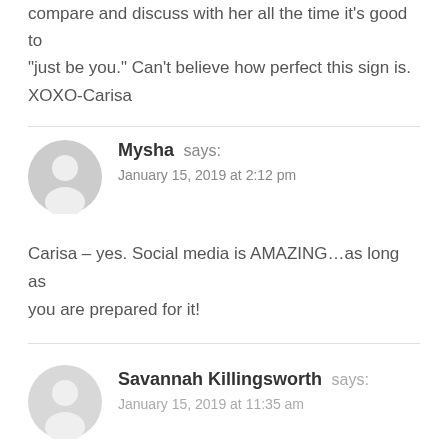compare and discuss with her all the time it's good to "just be you." Can't believe how perfect this sign is. XOXO-Carisa
Mysha says:
January 15, 2019 at 2:12 pm
Carisa – yes. Social media is AMAZING…as long as you are prepared for it!
Savannah Killingsworth says:
January 15, 2019 at 11:35 am